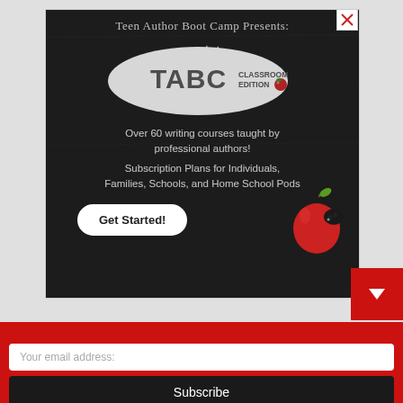[Figure (illustration): Teen Author Boot Camp TABC Classroom Edition advertisement on chalkboard background. Shows TABC logo in paint splat, apple illustration, 'Get Started!' button. Text: 'Teen Author Boot Camp Presents:', 'Over 60 writing courses taught by professional authors!', 'Subscription Plans for Individuals, Families, Schools, and Home School Pods']
Sign-up now to receive updates on new content!
Your email address:
Subscribe